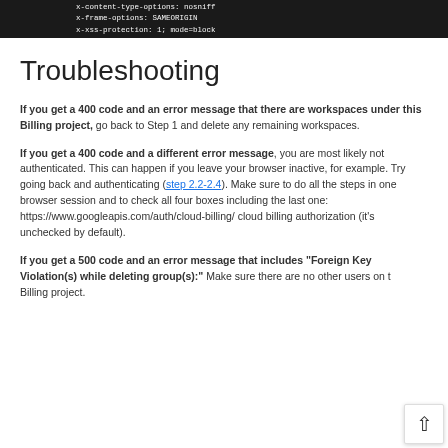[Figure (screenshot): Dark terminal/code block showing HTTP headers: x-content-type-options: nosniff, x-frame-options: SAMEORIGIN, x-xss-protection: 1; mode=block, with a pink/red left border]
Troubleshooting
If you get a 400 code and an error message that there are workspaces under this Billing project, go back to Step 1 and delete any remaining workspaces.
If you get a 400 code and a different error message, you are most likely not authenticated. This can happen if you leave your browser inactive, for example. Try going back and authenticating (step 2.2-2.4). Make sure to do all the steps in one browser session and to check all four boxes including the last one: https://www.googleapis.com/auth/cloud-billing/ cloud billing authorization (it's unchecked by default).
If you get a 500 code and an error message that includes "Foreign Key Violation(s) while deleting group(s):" Make sure there are no other users on the Billing project.